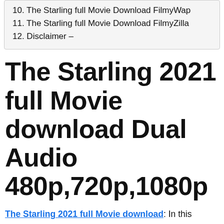10. The Starling full Movie Download FilmyWap
11. The Starling full Movie Download FilmyZilla
12. Disclaimer –
The Starling 2021 full Movie download Dual Audio 480p,720p,1080p
The Starling 2021 full Movie download: In this article, I will tell what I know about The Starling Movie The Starling. In addition, you will learn about the characters who are part of The Movie The Starling through this